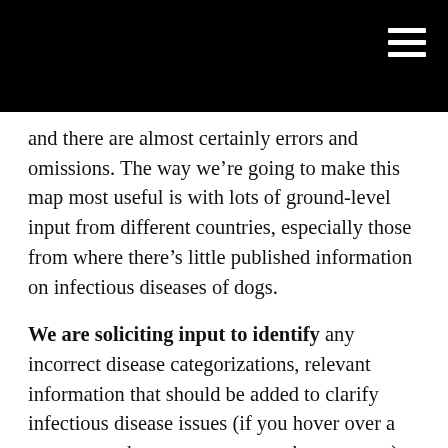[Black navigation bar with hamburger menu icon]
and there are almost certainly errors and omissions. The way we’re going to make this map most useful is with lots of ground-level input from different countries, especially those from where there’s little published information on infectious diseases of dogs.
We are soliciting input to identify any incorrect disease categorizations, relevant information that should be added to clarify infectious disease issues (if you hover over a country on the map, a comment box appears), and suggestions for the next diseases to add to the map.  Any comments can be sent to me at jsweese@uoguelph.ca, by Twitter @weese_scott or via the Worms & Germs Blog contact page.